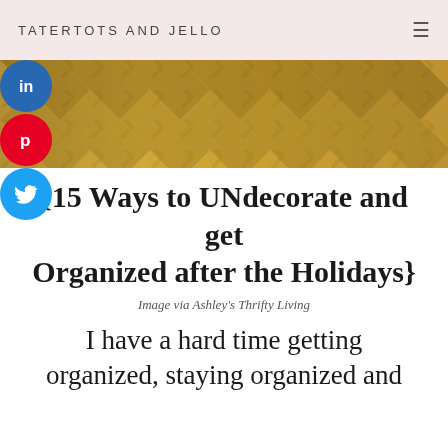TATERTOTS AND JELLO
[Figure (photo): Close-up photo of woven golden/tan decorative textile or tray with chevron/herringbone pattern]
{15 Ways to UNdecorate and get Organized after the Holidays}
Image via Ashley's Thrifty Living
I have a hard time getting organized, staying organized and